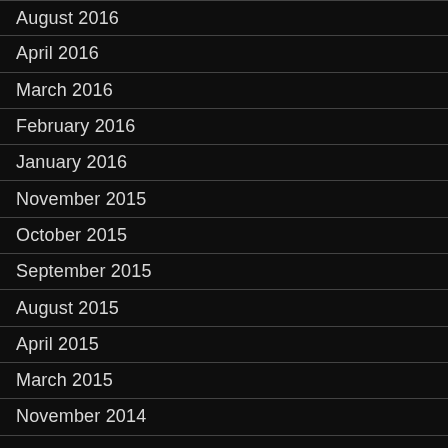August 2016
April 2016
March 2016
February 2016
January 2016
November 2015
October 2015
September 2015
August 2015
April 2015
March 2015
November 2014